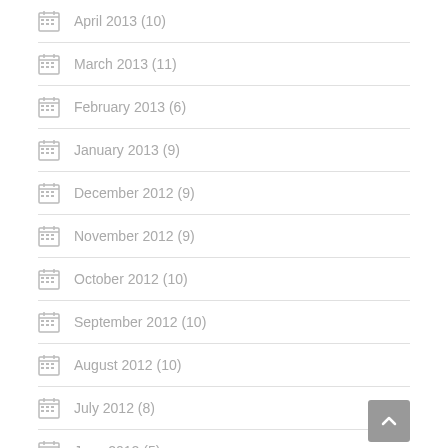April 2013 (10)
March 2013 (11)
February 2013 (6)
January 2013 (9)
December 2012 (9)
November 2012 (9)
October 2012 (10)
September 2012 (10)
August 2012 (10)
July 2012 (8)
June 2012 (5)